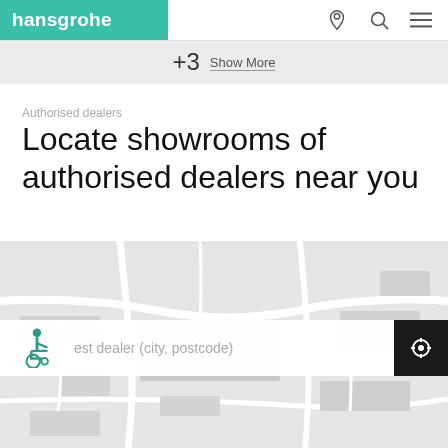hansgrohe
+3  Show More
Authorised dealers
Locate showrooms of authorised dealers near you
[Figure (map): Street map showing city area in light grey tones used as background for dealer locator]
est dealer (city, postcode)